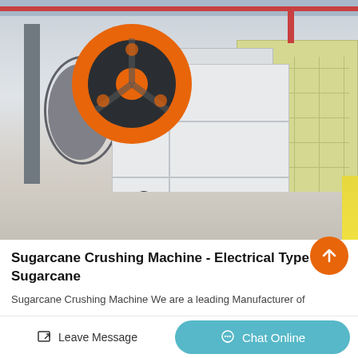[Figure (photo): Industrial jaw crusher machine with large orange flywheel in a manufacturing facility. A white/gray jaw crusher is prominently shown with a large orange and black flywheel on the left side. A yellow/cream colored impact crusher is visible to the right. The setting is an industrial factory floor with steel columns and overhead cranes.]
Sugarcane Crushing Machine - Electrical Type Sugarcane
Sugarcane Crushing Machine We are a leading Manufacturer of
Leave Message
Chat Online